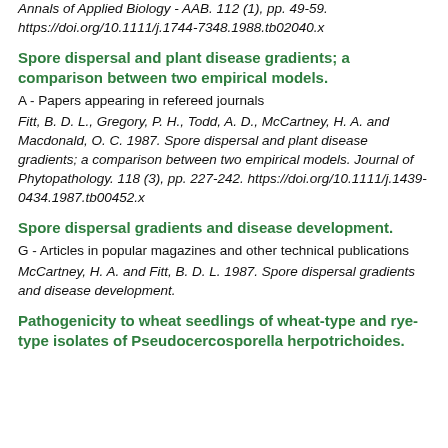Annals of Applied Biology - AAB. 112 (1), pp. 49-59. https://doi.org/10.1111/j.1744-7348.1988.tb02040.x
Spore dispersal and plant disease gradients; a comparison between two empirical models.
A - Papers appearing in refereed journals
Fitt, B. D. L., Gregory, P. H., Todd, A. D., McCartney, H. A. and Macdonald, O. C. 1987. Spore dispersal and plant disease gradients; a comparison between two empirical models. Journal of Phytopathology. 118 (3), pp. 227-242. https://doi.org/10.1111/j.1439-0434.1987.tb00452.x
Spore dispersal gradients and disease development.
G - Articles in popular magazines and other technical publications
McCartney, H. A. and Fitt, B. D. L. 1987. Spore dispersal gradients and disease development.
Pathogenicity to wheat seedlings of wheat-type and rye-type isolates of Pseudocercosporella herpotrichoides.